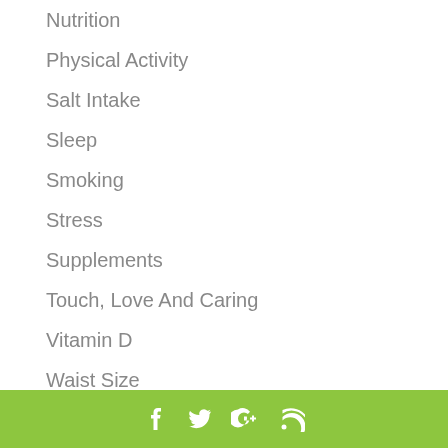Nutrition
Physical Activity
Salt Intake
Sleep
Smoking
Stress
Supplements
Touch, Love And Caring
Vitamin D
Waist Size
Water
Social media icons: Facebook, Twitter, Google+, RSS